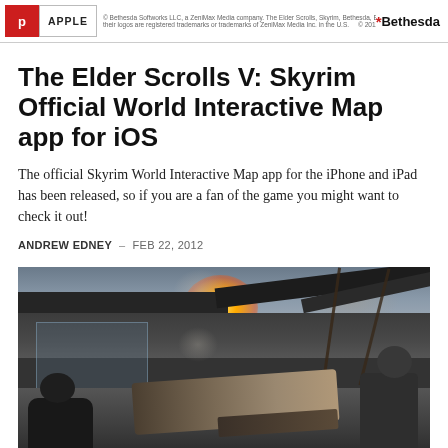P | APPLE | © 2012 usingwindowshomeserver.com | Bethesda
The Elder Scrolls V: Skyrim Official World Interactive Map app for iOS
The official Skyrim World Interactive Map app for the iPhone and iPad has been released, so if you are a fan of the game you might want to check it out!
ANDREW EDNEY  -  FEB 22, 2012
[Figure (photo): Screenshot from a first-person shooter video game showing a warfare scene on a bridge or rooftop with explosions, structural beams, smoke, soldiers in silhouette, and a weapon in the foreground.]